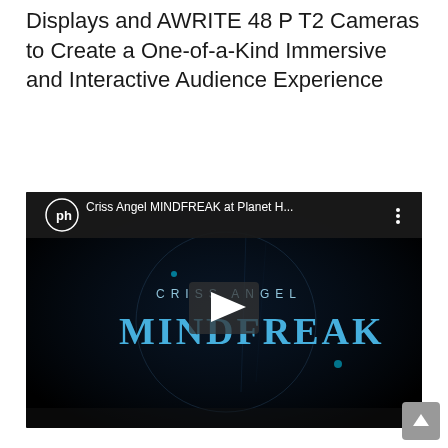Displays and AWRITE 48 P T2 Cameras to Create a One-of-a-Kind Immersive and Interactive Audience Experience
[Figure (screenshot): YouTube video thumbnail showing Criss Angel MINDFREAK at Planet H... with a dark background displaying the glowing blue CRISS ANGEL MINDFREAK logo text and a play button in the center. A channel icon with 'ph' logo is shown in the top left.]